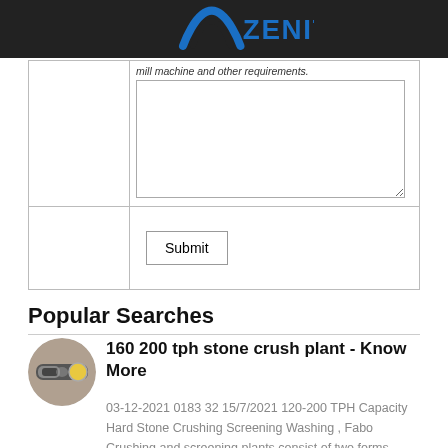[Figure (logo): Zenit company logo with blue arch and blue text on dark background]
|  | mill machine and other requirements. |
|  | Submit |
Popular Searches
[Figure (photo): Thumbnail image of a stone crushing machine]
160 200 tph stone crush plant - Know More
03-12-2021 0183 32 15/7/2021 120-200 TPH Capacity Hard Stone Crushing Screening Washing , Fabo Crushing and screening plants consist of two forms